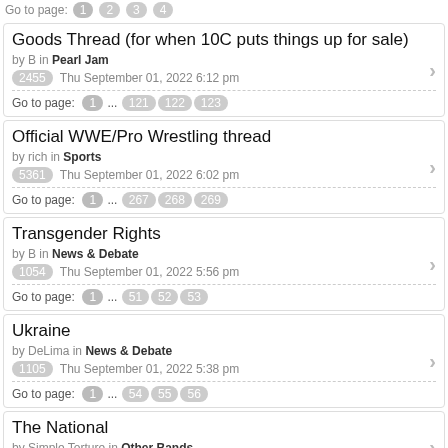Go to page: 1 2 3 4
Goods Thread (for when 10C puts things up for sale)
by B in Pearl Jam
2455  Thu September 01, 2022 6:12 pm
Go to page: 1 ... 121 122 123
Official WWE/Pro Wrestling thread
by rich in Sports
5361  Thu September 01, 2022 6:02 pm
Go to page: 1 ... 267 268 269
Transgender Rights
by B in News & Debate
1054  Thu September 01, 2022 5:56 pm
Go to page: 1 ... 51 52 53
Ukraine
by DeLima in News & Debate
1105  Thu September 01, 2022 5:38 pm
Go to page: 1 ... 54 55 56
The National
by Simple Torture in Other Bands
1367  Thu September 01, 2022 5:26 pm